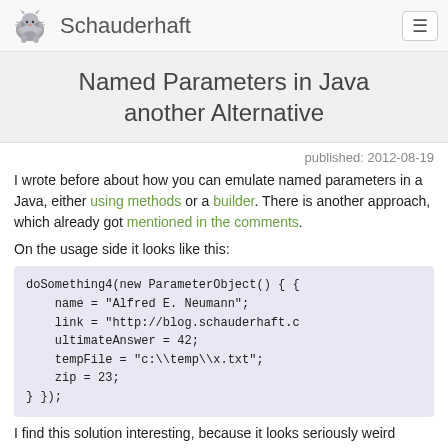Schauderhaft
Named Parameters in Java another Alternative
published: 2012-08-19
I wrote before about how you can emulate named parameters in a Java, either using methods or a builder. There is another approach, which already got mentioned in the comments.
On the usage side it looks like this:
[Figure (screenshot): Code block showing Java code: doSomething4(new ParameterObject() { { name = "Alfred E. Neumann"; link = "http://blog.schauderhaft.c..."; ultimateAnswer = 42; tempFile = "c:\\temp\\x.txt"; zip = 23; } });]
I find this solution interesting, because it looks seriously weird